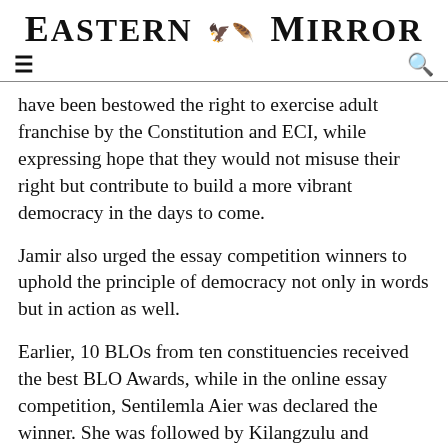Eastern Mirror
have been bestowed the right to exercise adult franchise by the Constitution and ECI, while expressing hope that they would not misuse their right but contribute to build a more vibrant democracy in the days to come.
Jamir also urged the essay competition winners to uphold the principle of democracy not only in words but in action as well.
Earlier, 10 BLOs from ten constituencies received the best BLO Awards, while in the online essay competition, Sentilemla Aier was declared the winner. She was followed by Kilangzulu and Takanaro Walling as the second and third winners respectively. All the three winners are from Queen Mary Higher Secondary School.